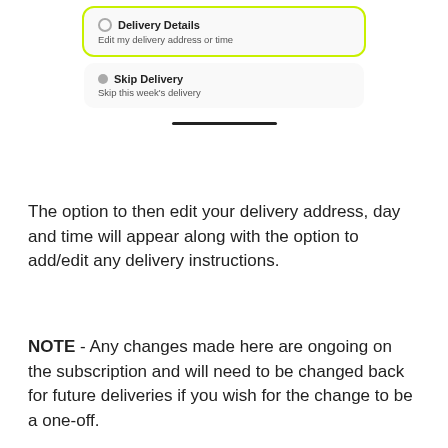[Figure (screenshot): Screenshot of a delivery options UI showing two cards: 'Delivery Details' (highlighted with a green/yellow oval outline) with subtitle 'Edit my delivery address or time', and 'Skip Delivery' with subtitle 'Skip this week's delivery'. A horizontal pill/divider appears below the cards.]
The option to then edit your delivery address, day and time will appear along with the option to add/edit any delivery instructions.
NOTE - Any changes made here are ongoing on the subscription and will need to be changed back for future deliveries if you wish for the change to be a one-off.